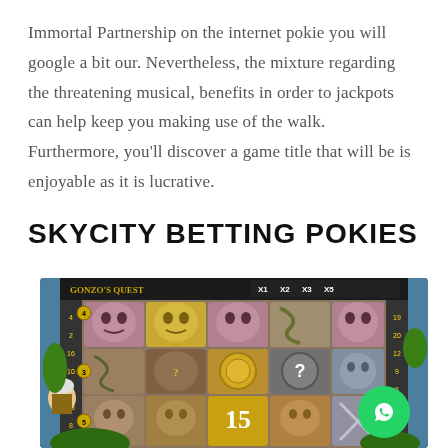Immortal Partnership on the internet pokie you will google a bit our. Nevertheless, the mixture regarding the threatening musical, benefits in order to jackpots can help keep you making use of the walk. Furthermore, you'll discover a game title that will be is enjoyable as it is lucrative.
SKYCITY BETTING POKIES
[Figure (screenshot): Screenshot of the Gonzo's Quest slot machine game showing a 5x3 grid of Aztec-themed stone tile symbols including face masks, serpents, and golden icons. The game interface shows multipliers X1, X2, X3, X5 at the top, various payline numbers on the sides, and a WhatsApp chat button overlay in the bottom right corner.]